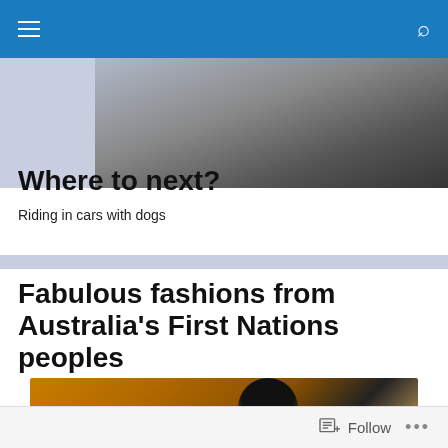Navigation bar with menu and search icons
[Figure (photo): Partial view of a dog in a car, grayscale tones, car interior visible]
Where to next?
Riding in cars with dogs
Fabulous fashions from Australia's First Nations peoples
[Figure (photo): A mannequin head silhouette against an orange/amber background with decorative leaf motif]
Follow ...